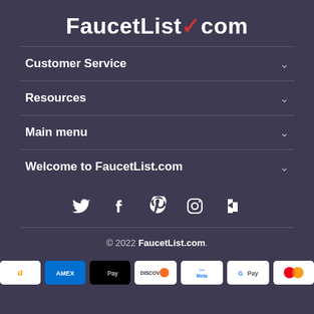FaucetList.com
Customer Service
Resources
Main menu
Welcome to FaucetList.com
[Figure (other): Social media icons: Twitter, Facebook, Pinterest, Instagram, Houzz]
© 2022 FaucetList.com.
[Figure (other): Payment method badges: Amazon, Amex, Apple Pay, Discover, Meta, Google Pay, Mastercard]